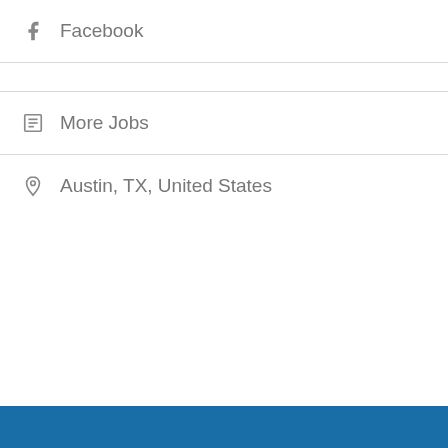Facebook
More Jobs
Austin, TX, United States